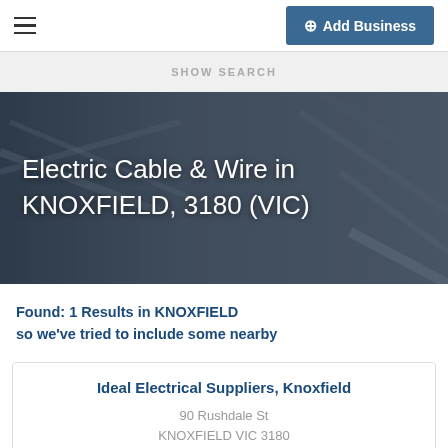≡   + Add Business
SHOW SEARCH
Electric Cable & Wire in KNOXFIELD, 3180 (VIC)
Found: 1 Results in KNOXFIELD so we've tried to include some nearby
Ideal Electrical Suppliers, Knoxfield
90 Rushdale St
KNOXFIELD VIC 3180